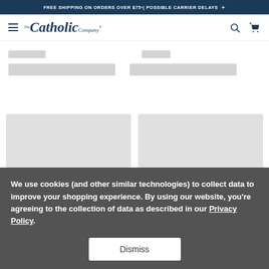FREE SHIPPING ON ORDERS OVER $75* | POSSIBLE CARRIER DELAYS +
[Figure (logo): The Catholic Company logo with hamburger menu icon on the left and search/cart icons on the right]
[Figure (other): Loading skeleton placeholders for product listing page - two rows of gray skeleton bars]
[Figure (other): Two large gray product card skeleton placeholders side by side]
We use cookies (and other similar technologies) to collect data to improve your shopping experience. By using our website, you're agreeing to the collection of data as described in our Privacy Policy.
Dismiss